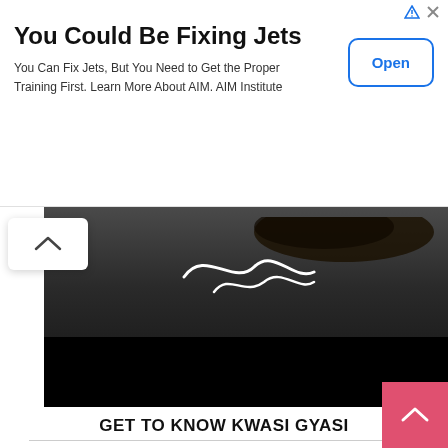[Figure (other): Advertisement banner: 'You Could Be Fixing Jets' with Open button]
[Figure (photo): Dark photo of a person wearing a dark jacket with white graphic, hair visible at top]
GET TO KNOW KWASI GYASI
[Figure (infographic): Advertise & Work With IAMKWASIGYASI social media marketer and commentator card, with phone mockup, 'WE ALWAYS PUT THE CLIENT'S SATISFACTION FIRST!' and services list: BLOGGING, GRAPHIC & WEB DESIGN & DEVELOPMENT]